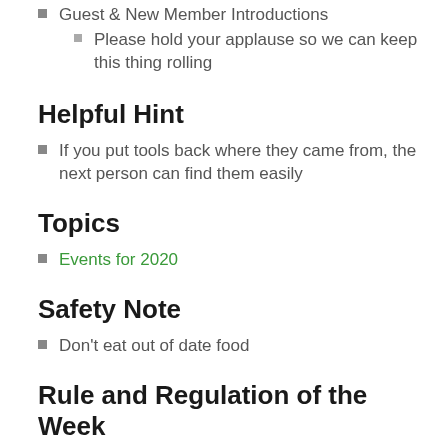Guest & New Member Introductions
Please hold your applause so we can keep this thing rolling
Helpful Hint
If you put tools back where they came from, the next person can find them easily
Topics
Events for 2020
Safety Note
Don't eat out of date food
Rule and Regulation of the Week
All foods in the refrigerator other than condiments